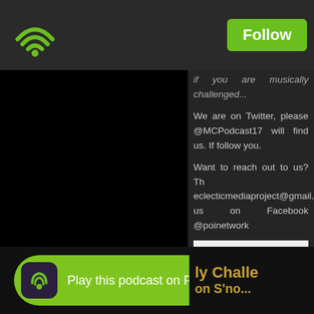[Figure (logo): Green WiFi/Podbean logo icon in top left]
Follow
[Figure (photo): Black podcast image panel on left side]
if you are musically challenged...
We are on Twitter, please @MCPodcast17 will find us. If follow you.
Want to reach out to us? Th eclecticmediaproject@gmail.co us on Facebook @poinetwork
[Figure (photo): White image placeholder]
Filed under  Movies ,  nostalg... Hop ,  Drugs ,  70's ,  synth-...
[Figure (logo): Play this podcast on Podbean App button]
Play this podcast on Podbean App
ly Challe
on S'no...